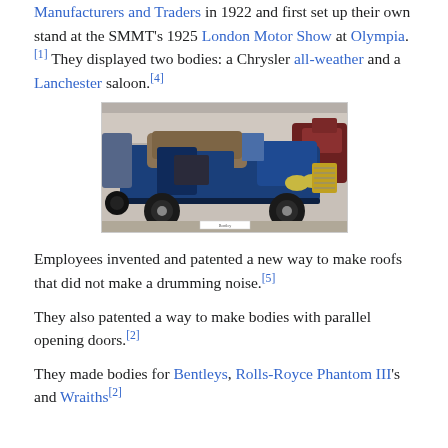Manufacturers and Traders in 1922 and first set up their own stand at the SMMT's 1925 London Motor Show at Olympia.[1] They displayed two bodies: a Chrysler all-weather and a Lanchester saloon.[4]
[Figure (photo): A vintage blue classic car (likely a Bentley or similar 1930s luxury car) photographed in what appears to be a museum or show, with other classic cars visible in the background.]
Employees invented and patented a new way to make roofs that did not make a drumming noise.[5]
They also patented a way to make bodies with parallel opening doors.[2]
They made bodies for Bentleys, Rolls-Royce Phantom III's and Wraiths[2]